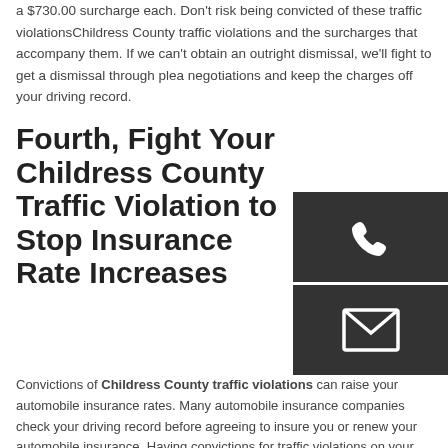a $730.00 surcharge each. Don't risk being convicted of these traffic violationsChildress County traffic violations and the surcharges that accompany them. If we can't obtain an outright dismissal, we'll fight to get a dismissal through plea negotiations and keep the charges off your driving record.
Fourth, Fight Your Childress County Traffic Violation to Stop Insurance Rate Increases
Convictions of Childress County traffic violations can raise your automobile insurance rates. Many automobile insurance companies check your driving record before agreeing to insure you or renew your automobile insurance. Having convictions for traffic violations on your driving record can cost you a lot of money. Your automobile insurance company may increase your insurance rates when you apply for new